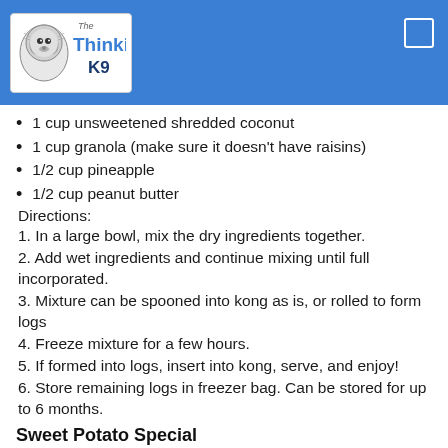The Thinking K9 (logo header)
1 cup unsweetened shredded coconut
1 cup granola (make sure it doesn't have raisins)
1/2 cup pineapple
1/2 cup peanut butter
Directions:
1. In a large bowl, mix the dry ingredients together.
2. Add wet ingredients and continue mixing until full incorporated.
3. Mixture can be spooned into kong as is, or rolled to form logs
4. Freeze mixture for a few hours.
5. If formed into logs, insert into kong, serve, and enjoy!
6. Store remaining logs in freezer bag. Can be stored for up to 6 months.
Sweet Potato Special